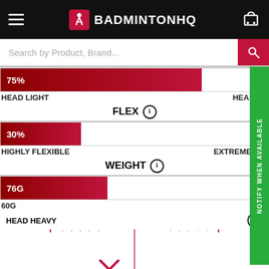BADMINTONHQ
Search by Product, Brand...
[Figure (bar-chart): Balance]
FLEX
[Figure (bar-chart): Flex]
WEIGHT
[Figure (bar-chart): Weight]
[Figure (radar-chart): Radar chart with cross marker showing head heavy, flexible characteristics. Labels: HEAD HEAVY (top), FLEXIBLE (bottom-left), STIFF (bottom-right).]